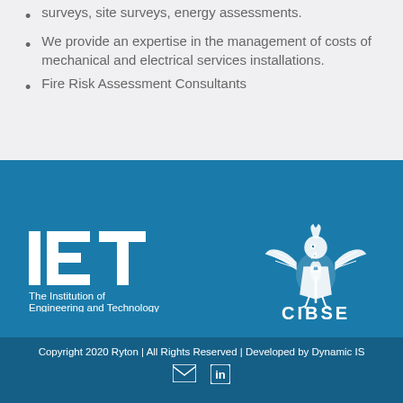surveys, site surveys, energy assessments.
We provide an expertise in the management of costs of mechanical and electrical services installations.
Fire Risk Assessment Consultants
[Figure (logo): IET - The Institution of Engineering and Technology logo in white on blue background]
[Figure (logo): CIBSE logo with griffin symbol in white on blue background]
Copyright 2020 Ryton | All Rights Reserved | Developed by Dynamic IS